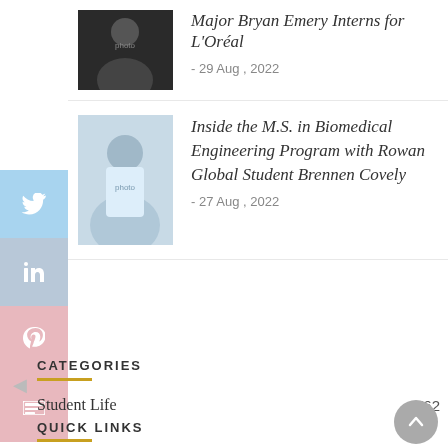[Figure (photo): Thumbnail photo of a person (Bryan Emery) for the article about interning for L'Oréal]
Major Bryan Emery Interns for L'Oréal
- 29 Aug , 2022
[Figure (photo): Thumbnail photo of a person in a white coat (Brennen Covely) for the M.S. Biomedical Engineering article]
Inside the M.S. in Biomedical Engineering Program with Rowan Global Student Brennen Covely
- 27 Aug , 2022
CATEGORIES
Student Life   762
QUICK LINKS